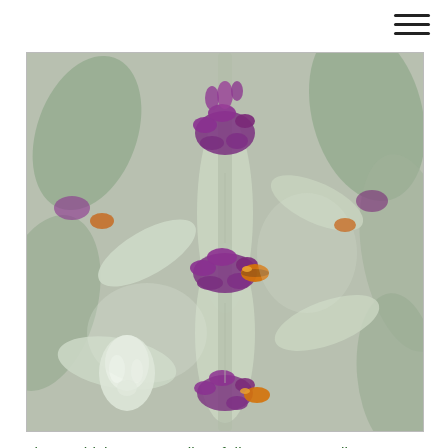[Figure (photo): Close-up photograph of a plant with silver-green fuzzy foliage and small bright purple/magenta flowers with orange accents, likely Stachys byzantina (lamb's ear) or a similar silver-leaved plant in bloom.]
Plants which possess silver foliage can compliment a